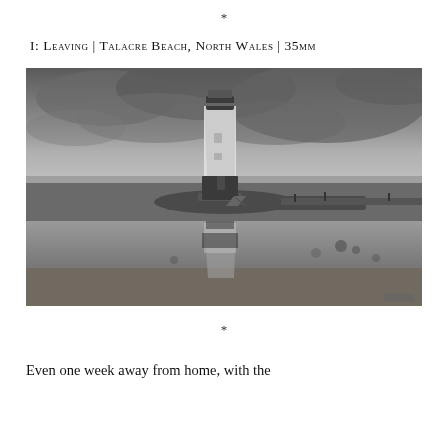*
I: Leaving | Talacre Beach, North Wales | 35mm
[Figure (photo): Black and white photograph of a lighthouse at Talacre Beach, North Wales, with its reflection visible in a tidal pool in the foreground. The lighthouse is a tall white cylindrical tower with a dark lantern room, set against a dramatic cloudy sky. A rocky breakwater extends to the right with small figures visible along it.]
*
Even one week away from home, with the